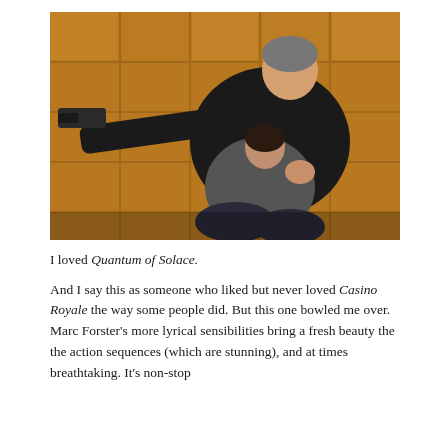[Figure (photo): Action scene from Quantum of Solace: a man in dark clothing holding a gun outward while crouching over another person, both against a wooden panel wall background.]
I loved Quantum of Solace.
And I say this as someone who liked but never loved Casino Royale the way some people did. But this one bowled me over. Marc Forster's more lyrical sensibilities bring a fresh beauty the the action sequences (which are stunning), and at times breathtaking. It's non-stop